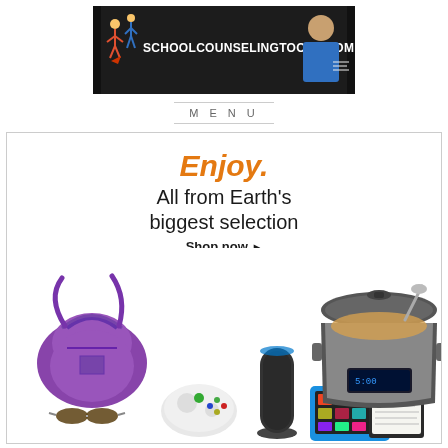[Figure (logo): SchoolCounselingTools.com banner with dark background, cartoon figures on left, text 'SCHOOLCOUNSELINGTOOLS.COM', and a person on the right]
MENU
[Figure (advertisement): Amazon advertisement banner. Orange bold italic text 'Enjoy.' followed by 'All from Earth's biggest selection' in dark text, and 'Shop now ▸' link. Below is an image of various products: purple handbag, sunglasses, Xbox controller, Amazon Echo, Fire tablet, Kindle, book, and a slow cooker.]